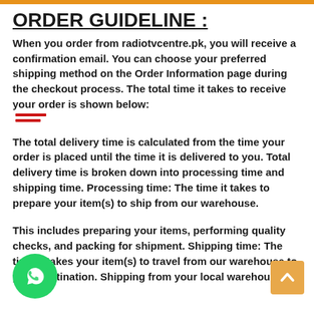ORDER GUIDELINE :
When you order from radiotvcentre.pk, you will receive a confirmation email. You can choose your preferred shipping method on the Order Information page during the checkout process. The total time it takes to receive your order is shown below:
The total delivery time is calculated from the time your order is placed until the time it is delivered to you. Total delivery time is broken down into processing time and shipping time. Processing time: The time it takes to prepare your item(s) to ship from our warehouse.
This includes preparing your items, performing quality checks, and packing for shipment. Shipping time: The time it takes your item(s) to travel from our warehouse to your destination. Shipping from your local warehouse is